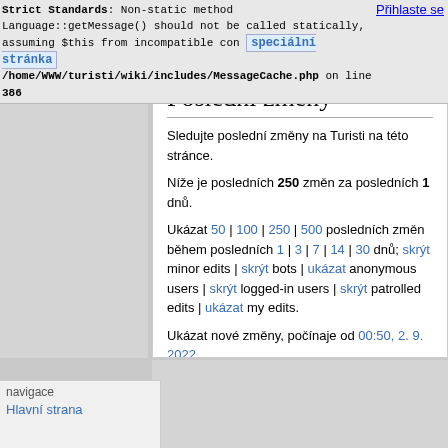Přihlaste se
Strict Standards: Non-static method Language::getMessage() should not be called statically, assuming $this from incompatible con [speciální stránka] /home/WWW/turisti/wiki/includes/MessageCache.php on line 386
Poslední změny
Sledujte poslední změny na Turisti na této stránce.
Níže je posledních 250 změn za posledních 1 dnů.
Ukázat 50 | 100 | 250 | 500 posledních změn během posledních 1 | 3 | 7 | 14 | 30 dnů; skrýt minor edits | skrýt bots | ukázat anonymous users | skrýt logged-in users | skrýt patrolled edits | ukázat my edits.
Ukázat nové změny, počínaje od 00:50, 2. 9. 2022
Jmenný prostor: všechny
Přejit   Obrátit výběr
navigace
Hlavní strana